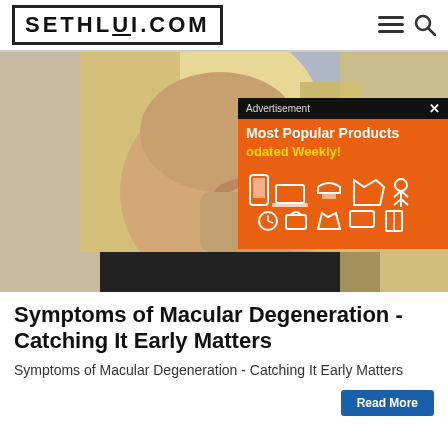SETHLUI.COM
[Figure (photo): Woman with blonde hair touching her eye with her hand, appearing to be in discomfort. An advertisement overlay is visible in the upper right showing 'Most Popular Products Updated Weekly!' on an orange background with product icons.]
Symptoms of Macular Degeneration - Catching It Early Matters
Symptoms of Macular Degeneration - Catching It Early Matters